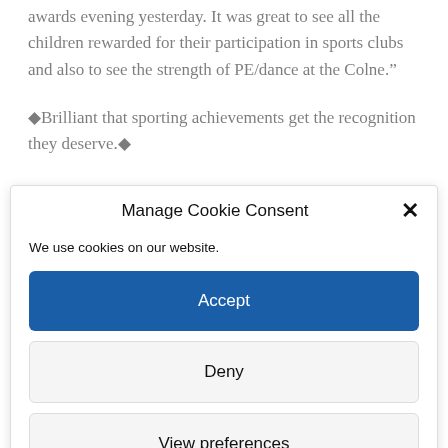awards evening yesterday. It was great to see all the children rewarded for their participation in sports clubs and also to see the strength of PE/dance at the Colne."
🔷Brilliant that sporting achievements get the recognition they deserve.🔷
Manage Cookie Consent
We use cookies on our website.
Accept
Deny
View preferences
Cookie Policy   Website Privacy Notice